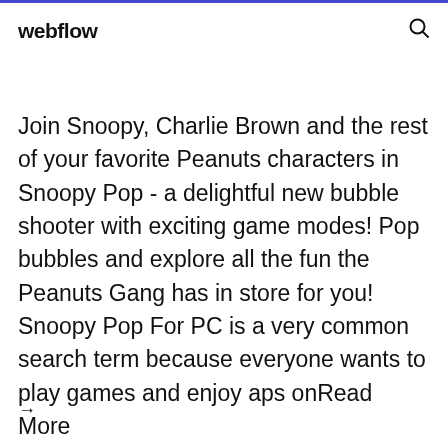webflow
Join Snoopy, Charlie Brown and the rest of your favorite Peanuts characters in Snoopy Pop - a delightful new bubble shooter with exciting game modes! Pop bubbles and explore all the fun the Peanuts Gang has in store for you! Snoopy Pop For PC is a very common search term because everyone wants to play games and enjoy aps onRead More
→